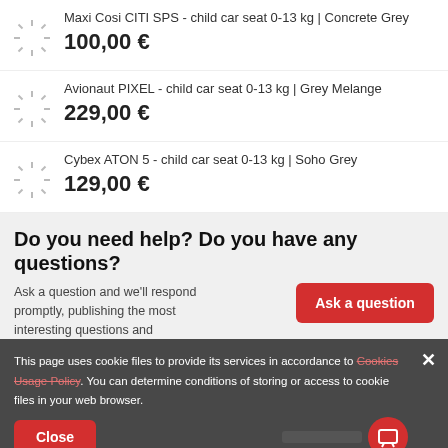Maxi Cosi CITI SPS - child car seat 0-13 kg | Concrete Grey
100,00 €
Avionaut PIXEL - child car seat 0-13 kg | Grey Melange
229,00 €
Cybex ATON 5 - child car seat 0-13 kg | Soho Grey
129,00 €
Do you need help? Do you have any questions?
Ask a question and we'll respond promptly, publishing the most interesting questions and
This page uses cookie files to provide its services in accordance to Cookies Usage Policy. You can determine conditions of storing or access to cookie files in your web browser.
Your opinion.